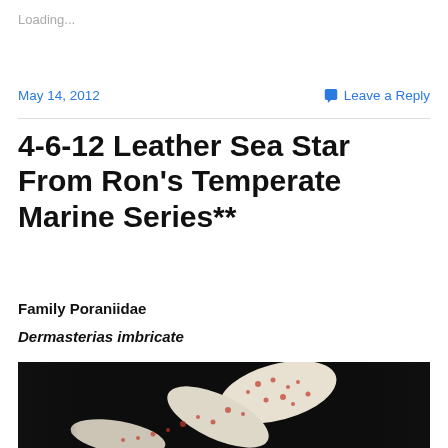Loading...
May 14, 2012
Leave a Reply
4-6-12 Leather Sea Star From Ron’s Temperate Marine Series**
Family Poraniidae
Dermasterias imbricate
[Figure (photo): Close-up photograph of a Leather Sea Star (Dermasterias imbricate) against a dark background, showing the textured orange and white patterned surface of the sea star arm]